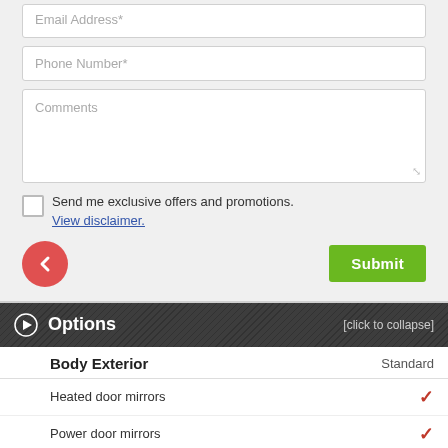Email Address*
Phone Number*
Comments
Send me exclusive offers and promotions. View disclaimer.
Submit
Options [click to collapse]
| Body Exterior | Standard |
| --- | --- |
| Heated door mirrors | ✓ |
| Power door mirrors | ✓ |
| Power liftgate | ✓ |
| Spoiler | ✓ |
| Trailer sway control | ✓ |
| Turn signal indicator mirrors | ✓ |